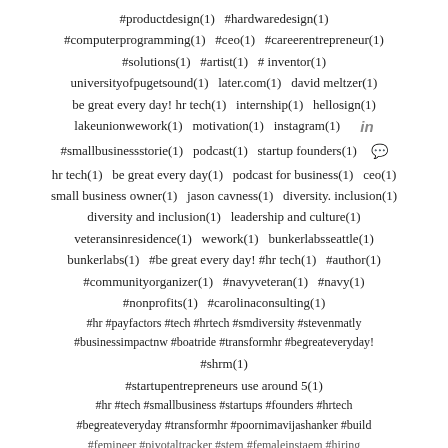#productdesign(1)  #hardwaredesign(1)
#computerprogramming(1)  #ceo(1)  #careerentrepreneur(1)
#solutions(1)  #artist(1)  # inventor(1)
universityofpugetsound(1)  later.com(1)  david meltzer(1)
be great every day! hr tech(1)  internship(1)  hellosign(1)
lakeunionwework(1)  motivation(1)  instagram(1)
#smallbusinessstorie(1)  podcast(1)  startup founders(1)
hr tech(1)  be great every day(1)  podcast for business(1)  ceo(1)
small business owner(1)  jason cavness(1)  diversity. inclusion(1)
diversity and inclusion(1)  leadership and culture(1)
veteransinresidence(1)  wework(1)  bunkerlabsseattle(1)
bunkerlabs(1)  #be great every day! #hr tech(1)  #author(1)
#communityorganizer(1)  #navyveteran(1)  #navy(1)
#nonprofits(1)  #carolinaconsulting(1)
#hr #payfactors #tech #hrtech #smdiversity #stevenmatly
#businessimpactnw #boatride #transformhr #begreateveryday!
#shrm(1)
#startupentrepreneurs use around 5(1)
#hr #tech #smallbusiness #startups #founders #hrtech
#begreateveryday #transformhr #poornimavijashanker #build
#femineer #pivotaltracker #stem #femaleinstaem #hiring